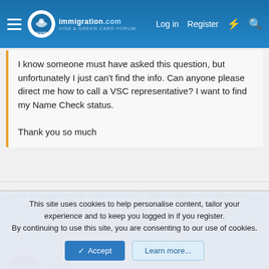immigration.com — Log in | Register
I know someone must have asked this question, but unfortunately I just can't find the info. Can anyone please direct me how to call a VSC representative? I want to find my Name Check status.

Thank you so much
Did you get your information? When did you do your FP? Thanks,
--Naveen Oshos
noshs
Registered Users (C)
Nov 14, 2005   #5
This site uses cookies to help personalise content, tailor your experience and to keep you logged in if you register.
By continuing to use this site, you are consenting to our use of cookies.